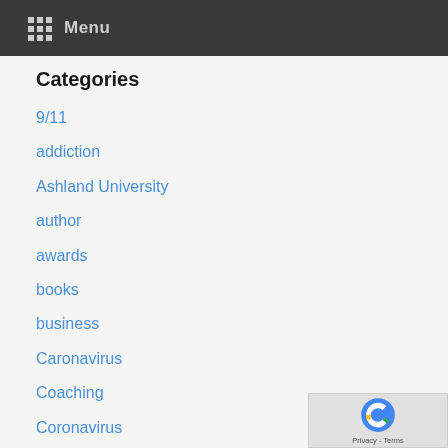Menu
Categories
9/11
addiction
Ashland University
author
awards
books
business
Caronavirus
Coaching
Coronavirus
Covid-19
faith
family
fatherless home